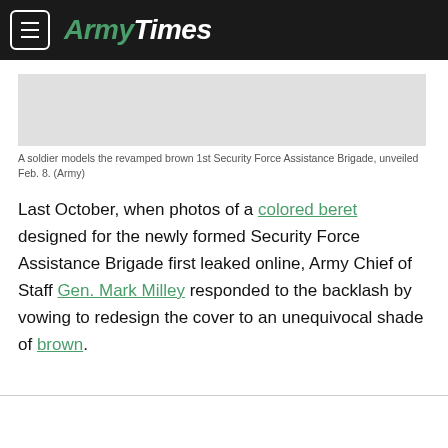ArmyTimes
[Figure (photo): A soldier models the revamped brown 1st Security Force Assistance Brigade beret uniform, unveiled Feb. 8. (Army)]
A soldier models the revamped brown 1st Security Force Assistance Brigade, unveiled Feb. 8. (Army)
Last October, when photos of a colored beret designed for the newly formed Security Force Assistance Brigade first leaked online, Army Chief of Staff Gen. Mark Milley responded to the backlash by vowing to redesign the cover to an unequivocal shade of brown.